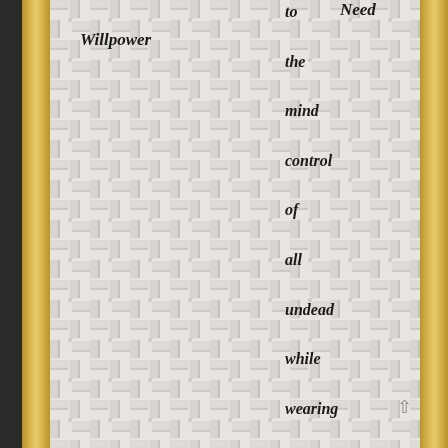Willpower
Need
to the mind control of all undead while wearing the medallion (+6 to save even without it) and